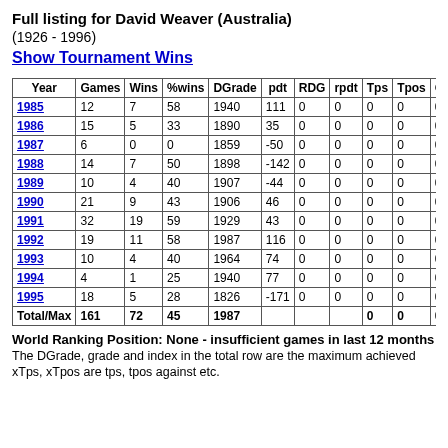Full listing for David Weaver (Australia)
(1926 - 1996)
Show Tournament Wins
| Year | Games | Wins | %wins | DGrade | pdt | RDG | rpdt | Tps | Tpos | Otps |
| --- | --- | --- | --- | --- | --- | --- | --- | --- | --- | --- |
| 1985 | 12 | 7 | 58 | 1940 | 111 | 0 | 0 | 0 | 0 | 0 |
| 1986 | 15 | 5 | 33 | 1890 | 35 | 0 | 0 | 0 | 0 | 0 |
| 1987 | 6 | 0 | 0 | 1859 | -50 | 0 | 0 | 0 | 0 | 0 |
| 1988 | 14 | 7 | 50 | 1898 | -142 | 0 | 0 | 0 | 0 | 0 |
| 1989 | 10 | 4 | 40 | 1907 | -44 | 0 | 0 | 0 | 0 | 0 |
| 1990 | 21 | 9 | 43 | 1906 | 46 | 0 | 0 | 0 | 0 | 0 |
| 1991 | 32 | 19 | 59 | 1929 | 43 | 0 | 0 | 0 | 0 | 0 |
| 1992 | 19 | 11 | 58 | 1987 | 116 | 0 | 0 | 0 | 0 | 0 |
| 1993 | 10 | 4 | 40 | 1964 | 74 | 0 | 0 | 0 | 0 | 0 |
| 1994 | 4 | 1 | 25 | 1940 | 77 | 0 | 0 | 0 | 0 | 0 |
| 1995 | 18 | 5 | 28 | 1826 | -171 | 0 | 0 | 0 | 0 | 0 |
| Total/Max | 161 | 72 | 45 | 1987 |  |  |  | 0 | 0 | 0 |
World Ranking Position: None - insufficient games in last 12 months
The DGrade, grade and index in the total row are the maximum achieved
xTps, xTpos are tps, tpos against etc.